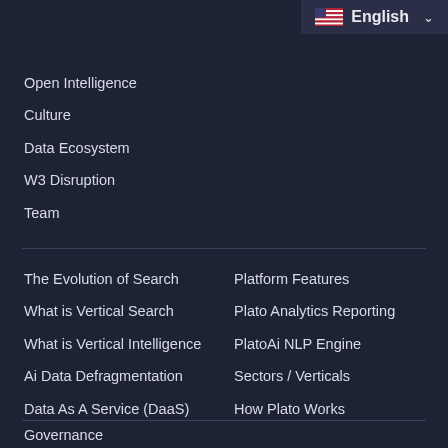English
Open Intelligence
Culture
Data Ecosystem
W3 Disruption
Team
The Evolution of Search
Platform Features
What is Vertical Search
Plato Analytics Reporting
What is Vertical Intelligence
PlatoAi NLP Engine
Ai Data Defragmentation
Sectors / Verticals
Data As A Service (DaaS)
How Plato Works
Governance